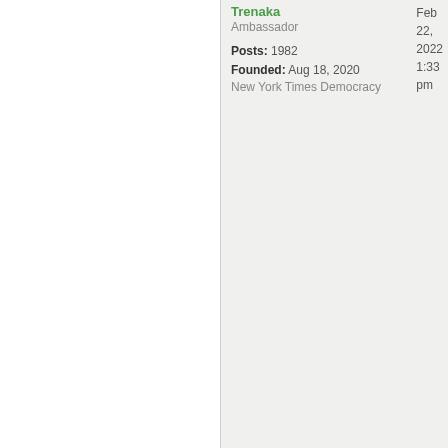Trenaka
Ambassador
Posts: 1982
Founded: Aug 18, 2020
New York Times Democracy
Feb 22, 2022 1:33 pm